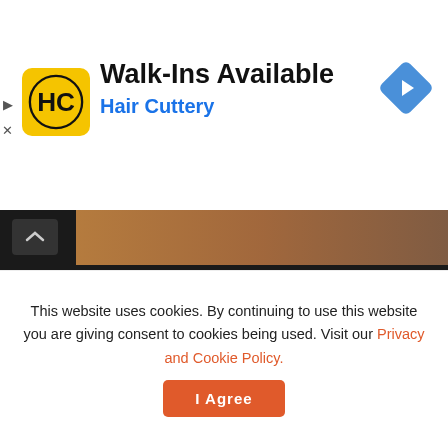[Figure (logo): Hair Cuttery advertisement banner with HC logo, Walk-Ins Available text, and blue navigation arrow icon]
Aim Training: Indoor Challenge Map DYOM
MAY 21, 2020
[Figure (screenshot): Light gray video/embed placeholder block]
This website uses cookies. By continuing to use this website you are giving consent to cookies being used. Visit our Privacy and Cookie Policy.